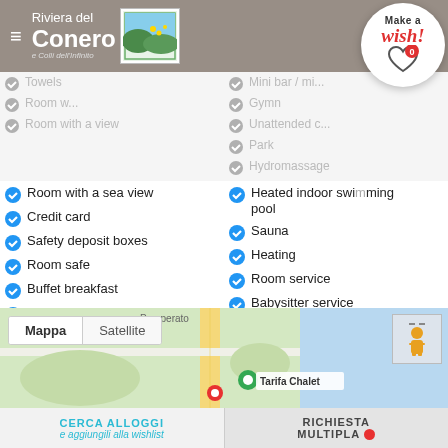[Figure (screenshot): Riviera del Conero logo with landscape image and italic subtitle e Colli dell Infinito]
Towels
Room with a sea view
Credit card
Safety deposit boxes
Room safe
Buffet breakfast
Dishes for Celiacs
Vegan cuisine
Vegetarian food
Fridge
Mini bar / mini fridge
Gymn
Unattended car park
Park
Hydromassage
Heated indoor swimming pool
Sauna
Heating
Room service
Babysitter service
Solarium
TV
[Figure (screenshot): Make a wish badge - heart icon with 0 counter]
[Figure (map): Google Maps view showing Pamperato area with Tarifa Chalet marker, Mappa/Satellite toggle, street view person icon]
CERCA ALLOGGI e aggiungili alla wishlist
RICHIESTA MULTIPLA